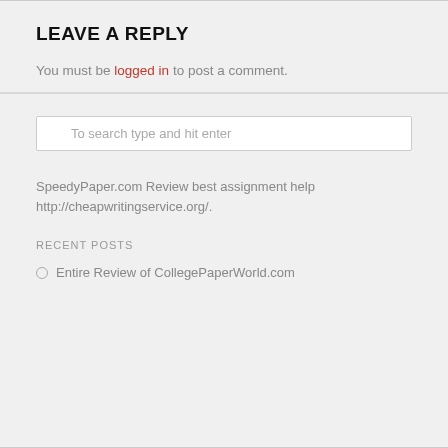LEAVE A REPLY
You must be logged in to post a comment.
To search type and hit enter
SpeedyPaper.com Review best assignment help http://cheapwritingservice.org/.
RECENT POSTS
Entire Review of CollegePaperWorld.com